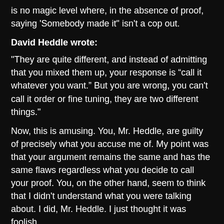is no magic level where, in the absence of proof, saying 'Somebody made it" isn't a cop out.
David Heddle wrote:
"They are quite different, and instead of admitting that you mixed them up, your response is “call it whatever you want.” But you are wrong, you can't call it order or fine tuning, they are two different things."
Now, this is amusing. You, Mr. Heddle, are guilty of precisely what you accuse me of. My point was that your argument remains the same and has the same flaws regardless what you decide to call your proof. You, on the other hand, seem to think that I didn't understand what you were talking about. I did, Mr. Heddle. I just thought it was foolish.
But let's move on to the piece de resistance...
David Heddle wrote: